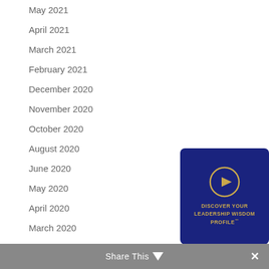May 2021
April 2021
March 2021
February 2021
December 2020
November 2020
October 2020
August 2020
June 2020
May 2020
April 2020
March 2020
February 2020
January 2020
December 2019
[Figure (illustration): Dark navy blue card with gold play button icon and text: DISCOVER YOUR LEADERSHIP WISDOM PROFILE™]
Share This ∨  ✕